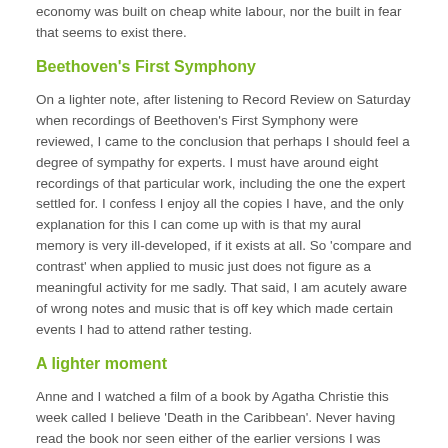economy was built on cheap white labour, nor the built in fear that seems to exist there.
Beethoven's First Symphony
On a lighter note, after listening to Record Review on Saturday when recordings of Beethoven's First Symphony were reviewed, I came to the conclusion that perhaps I should feel a degree of sympathy for experts. I must have around eight recordings of that particular work, including the one the expert settled for. I confess I enjoy all the copies I have, and the only explanation for this I can come up with is that my aural memory is very ill-developed, if it exists at all. So 'compare and contrast' when applied to music just does not figure as a meaningful activity for me sadly. That said, I am acutely aware of wrong notes and music that is off key which made certain events I had to attend rather testing.
A lighter moment
Anne and I watched a film of a book by Agatha Christie this week called I believe 'Death in the Caribbean'. Never having read the book nor seen either of the earlier versions I was amused to see the nod to 'Murder in Paradise'.
While still In this lighter mode, I recommend 'Slightly Foxed' a